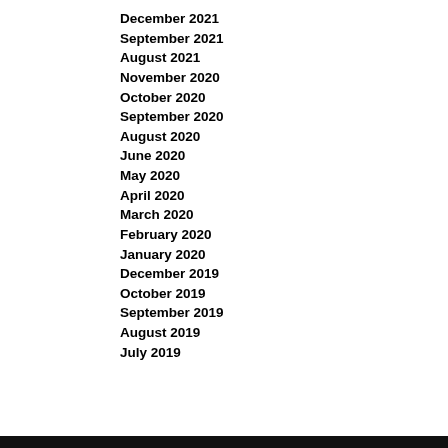December 2021
September 2021
August 2021
November 2020
October 2020
September 2020
August 2020
June 2020
May 2020
April 2020
March 2020
February 2020
January 2020
December 2019
October 2019
September 2019
August 2019
July 2019